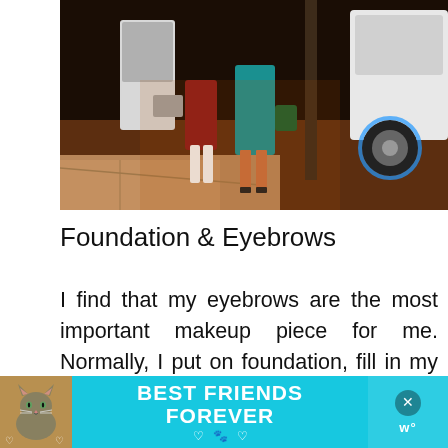[Figure (photo): Nighttime outdoor photo showing people standing near a white car. Two women are visible from approximately waist down — one in a red/maroon dress and white boots, another in a teal/turquoise dress and heels. They stand on a sidewalk/curb with reddish-brown ground visible.]
Foundation & Eyebrows
I find that my eyebrows are the most important makeup piece for me. Normally, I put on foundation, fill in my eyebrows, and put on
[Figure (other): Advertisement banner with teal/cyan background showing a cat photo on the left, bold white text reading 'BEST FRIENDS FOREVER' in the center with decorative hearts and paw icons, and close/X buttons on the right side.]